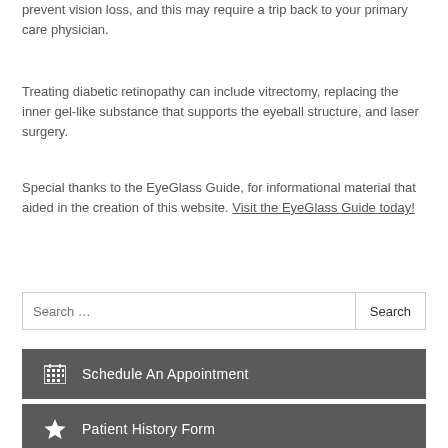prevent vision loss, and this may require a trip back to your primary care physician.
Treating diabetic retinopathy can include vitrectomy, replacing the inner gel-like substance that supports the eyeball structure, and laser surgery.
Special thanks to the EyeGlass Guide, for informational material that aided in the creation of this website. Visit the EyeGlass Guide today!
Search …
Schedule An Appointment
Patient History Form
Email Us